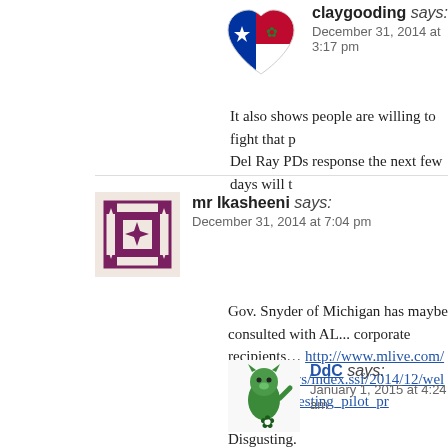claygooding says:
December 31, 2014 at 3:17 pm
It also shows people are willing to fight that p... Del Ray PDs response the next few days will t...
mr Ikasheeni says:
December 31, 2014 at 7:04 pm
Gov. Snyder of Michigan has maybe consulted with AL... corporate recipients… http://www.mlive.com/lansing-news/index.ssf/2014/12/welfare_drug_testing_pilot_pr...
DdC says:
January 1, 2015 at 4:24 am
Disgusting. https://www.facebook.com/222DdC/posts/101...